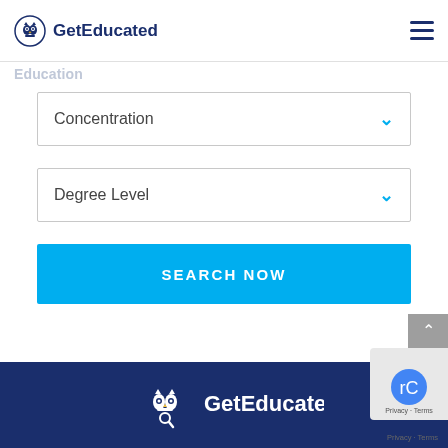GetEducated
Education
Concentration
Degree Level
SEARCH NOW
[Figure (logo): GetEducated logo with owl icon and white text on dark blue footer background]
Privacy · Terms